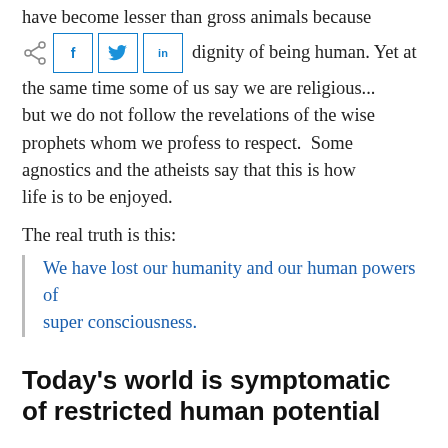have become lesser than gross animals because
dignity of being human. Yet at the same time some of us say we are religious... but we do not follow the revelations of the wise prophets whom we profess to respect. Some agnostics and the atheists say that this is how life is to be enjoyed.
The real truth is this:
We have lost our humanity and our human powers of super consciousness.
Today’s world is symptomatic of restricted human potential